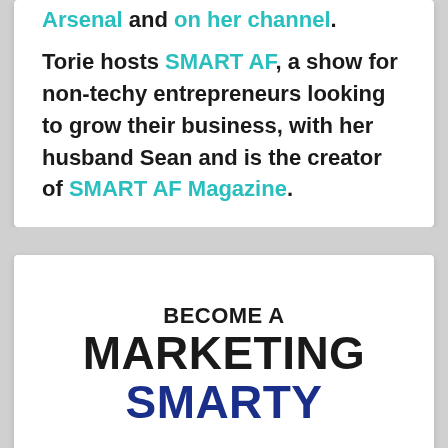Arsenal and on her channel. Torie hosts SMART AF, a show for non-techy entrepreneurs looking to grow their business, with her husband Sean and is the creator of SMART AF Magazine.
BECOME A MARKETING SMARTY
Join thousands of smart entrepreneurs and receive a weekly dose of marketing smarts